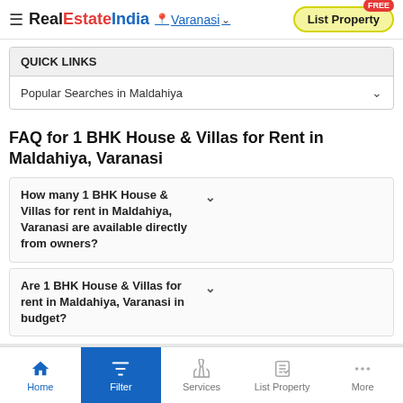RealEstateIndia — Varanasi — List Property
QUICK LINKS
Popular Searches in Maldahiya
FAQ for 1 BHK House & Villas for Rent in Maldahiya, Varanasi
How many 1 BHK House & Villas for rent in Maldahiya, Varanasi are available directly from owners?
Are 1 BHK House & Villas for rent in Maldahiya, Varanasi in budget?
Home > Property in Varanasi > House & Villas >...
Property for Sale
Flats for Sale
Home | Filter | Services | List Property | More